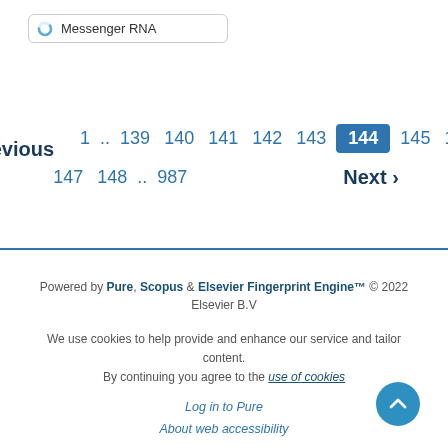Messenger RNA
‹ Previous  1 .. 139  140  141  142  143  144  145  146  147  148 .. 987  Next ›
Powered by Pure, Scopus & Elsevier Fingerprint Engine™ © 2022 Elsevier B.V
We use cookies to help provide and enhance our service and tailor content. By continuing you agree to the use of cookies
Log in to Pure
About web accessibility